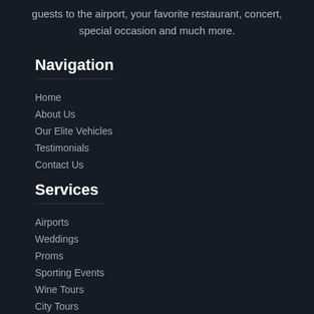guests to the airport, your favorite restaurant, concert, special occasion and much more.
Navigation
Home
About Us
Our Elite Vehicles
Testimonials
Contact Us
Services
Airports
Weddings
Proms
Sporting Events
Wine Tours
City Tours